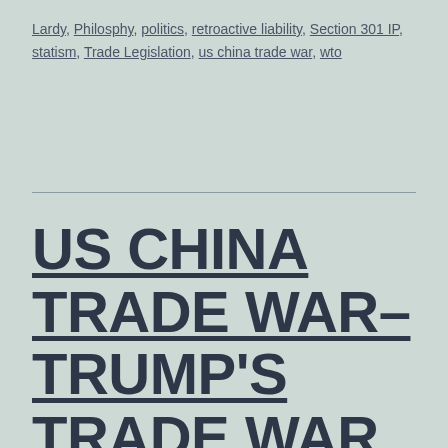Lardy, Philosphy, politics, retroactive liability, Section 301 IP, statism, Trade Legislation, us china trade war, wto
US CHINA TRADE WAR– TRUMP'S TRADE WAR, INCREASED US EXPORTS, SECTION 232 STEEL/ALUMINIUM